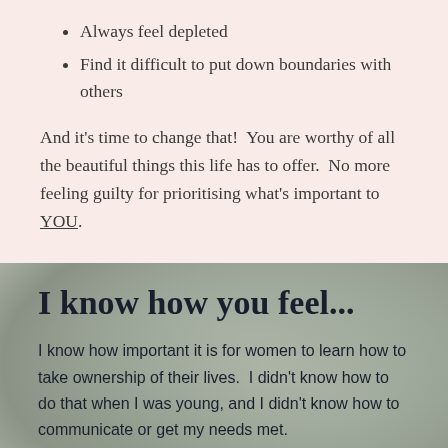Always feel depleted
Find it difficult to put down boundaries with others
And it's time to change that!  You are worthy of all the beautiful things this life has to offer.  No more feeling guilty for prioritising what's important to YOU.
I know how you feel...
I know how important it is for women to learn how to take ownership of their lives.  I didn't know how to do that when I was young, and I didn't know how to communicate or get my needs met.
I remember being disconnected from my purpose, not